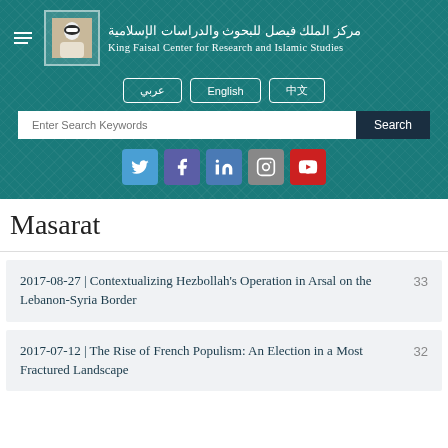[Figure (logo): King Faisal Center for Research and Islamic Studies logo with Arabic calligraphy, portrait emblem, and English name]
Masarat
2017-08-27 | Contextualizing Hezbollah’s Operation in Arsal on the Lebanon-Syria Border  33
2017-07-12 | The Rise of French Populism: An Election in a Most Fractured Landscape  32